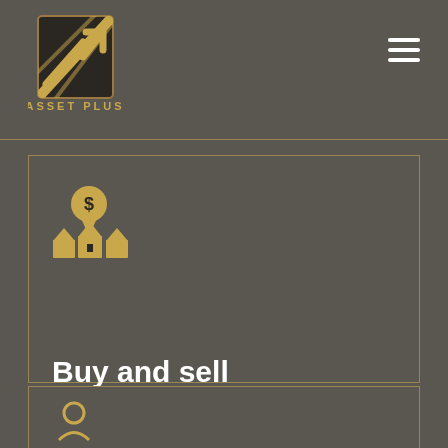ASSET PLUS
[Figure (logo): Asset Plus logo — diagonal gold/black striped upward arrow/chart icon above the text ASSET PLUS]
[Figure (illustration): Gold real estate icon: a location pin with a dollar sign on top of a row of houses]
Buy and sell
If you are thinking to buy or sell your property or even to rent it Asset Plus team will help you find the best at market competitive services.